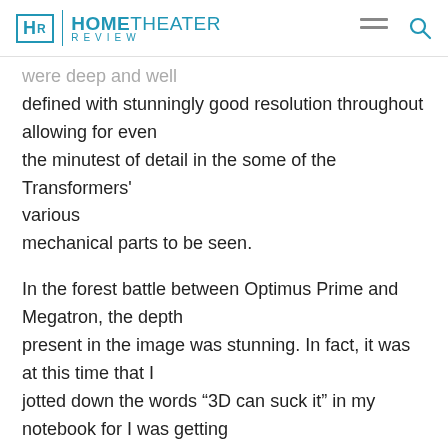HR | HOME THEATER REVIEW
were deep and well defined with stunningly good resolution throughout allowing for even the minutest of detail in the some of the Transformers' various mechanical parts to be seen.

In the forest battle between Optimus Prime and Megatron, the depth present in the image was stunning. In fact, it was at this time that I jotted down the words “3D can suck it” in my notebook for I was getting all the dimension, impact and immersion I could handle and didn’t have